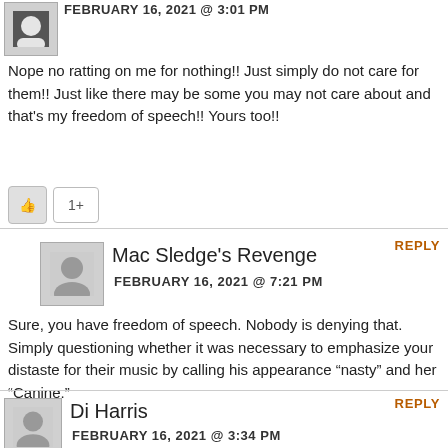FEBRUARY 16, 2021 @ 3:01 PM
Nope no ratting on me for nothing!! Just simply do not care for them!! Just like there may be some you may not care about and that's my freedom of speech!! Yours too!!
Mac Sledge's Revenge
FEBRUARY 16, 2021 @ 7:21 PM
Sure, you have freedom of speech. Nobody is denying that. Simply questioning whether it was necessary to emphasize your distaste for their music by calling his appearance “nasty” and her “Canine.”

Woof.
Di Harris
FEBRUARY 16, 2021 @ 3:34 PM
Hey!
The bl...